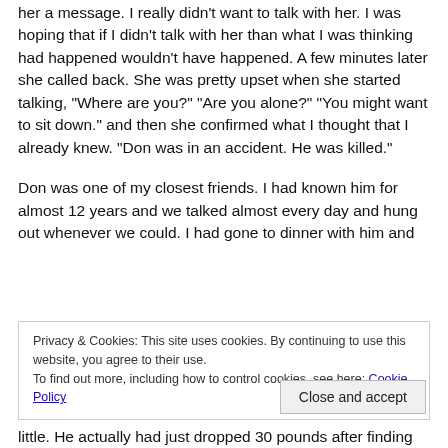her a message. I really didn't want to talk with her. I was hoping that if I didn't talk with her than what I was thinking had happened wouldn't have happened. A few minutes later she called back. She was pretty upset when she started talking, "Where are you?" "Are you alone?" "You might want to sit down." and then she confirmed what I thought that I already knew. "Don was in an accident. He was killed."
Don was one of my closest friends. I had known him for almost 12 years and we talked almost every day and hung out whenever we could. I had gone to dinner with him and
Privacy & Cookies: This site uses cookies. By continuing to use this website, you agree to their use.
To find out more, including how to control cookies, see here: Cookie Policy
little. He actually had just dropped 30 pounds after finding